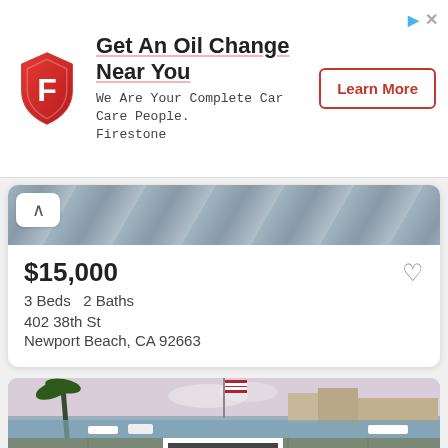[Figure (infographic): Firestone advertisement banner with red shield logo, text 'Get An Oil Change Near You - We Are Your Complete Car Care People. Firestone', and a 'Learn More' button]
[Figure (photo): Top portion of a property listing photo showing building/architectural exterior in gray tones]
$15,000
3 Beds  2 Baths
402 38th St
Newport Beach, CA 92663
[Figure (photo): Marina waterfront property photo showing a dock/patio area with American flag, boats, palm trees, and waterfront homes in Newport Beach, CA]